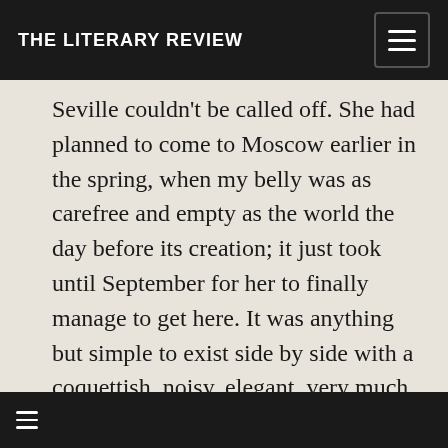THE LITERARY REVIEW
Seville couldn't be called off. She had planned to come to Moscow earlier in the spring, when my belly was as carefree and empty as the world the day before its creation; it just took until September for her to finally manage to get here. It was anything but simple to exist side by side with a coquettish, noisy, elegant, very much not pregnant woman, who was periodically touching herself up or trying on clothes that buttoned up the back or down the front. She would throw open the window every morning, toss the breadcrumbs out on the window sill, and holler in Russian to the entire household: “The